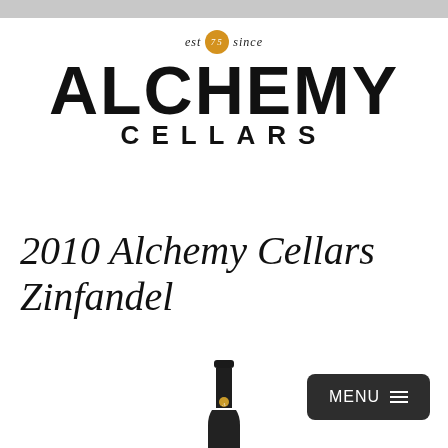[Figure (logo): Alchemy Cellars logo with 'est 75 since' tagline above stylized bold ALCHEMY text and CELLARS subtitle]
2010 Alchemy Cellars Zinfandel
[Figure (photo): Top of a dark wine bottle with black capsule and small gold circular logo]
[Figure (other): MENU navigation button in dark rounded rectangle]